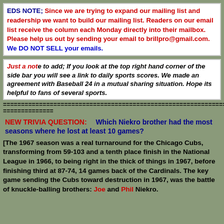EDS NOTE; Since we are trying to expand our mailing list and readership we want to build our mailing list. Readers on our email list receive the column each Monday directly into their mailbox. Please help us out by sending your email to brillpro@gmail.com. We DO NOT SELL your emails.
Just a note to add; If you look at the top right hand corner of the side bar you will see a link to daily sports scores. We made an agreement with Baseball 24 in a mutual sharing situation. Hope its helpful to fans of several sports.
================================================================ ==============
NEW TRIVIA QUESTION:   Which Niekro brother had the most seasons where he lost at least 10 games?
The 1967 season was a real turnaround for the Chicago Cubs, transforming from 59-103 and a tenth place finish in the National League in 1966, to being right in the thick of things in 1967, before finishing third at 87-74, 14 games back of the Cardinals. The key game sending the Cubs toward destruction in 1967, was the battle of knuckle-balling brothers: Joe and Phil Niekro.